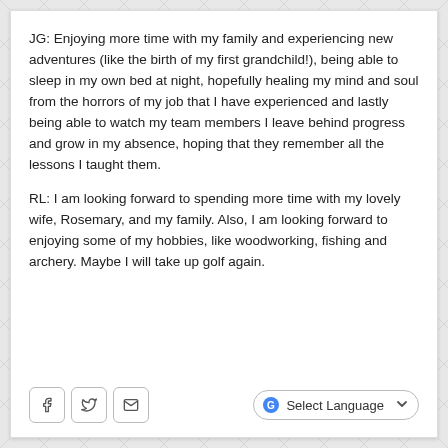JG: Enjoying more time with my family and experiencing new adventures (like the birth of my first grandchild!), being able to sleep in my own bed at night, hopefully healing my mind and soul from the horrors of my job that I have experienced and lastly being able to watch my team members I leave behind progress and grow in my absence, hoping that they remember all the lessons I taught them.
RL: I am looking forward to spending more time with my lovely wife, Rosemary, and my family. Also, I am looking forward to enjoying some of my hobbies, like woodworking, fishing and archery. Maybe I will take up golf again.